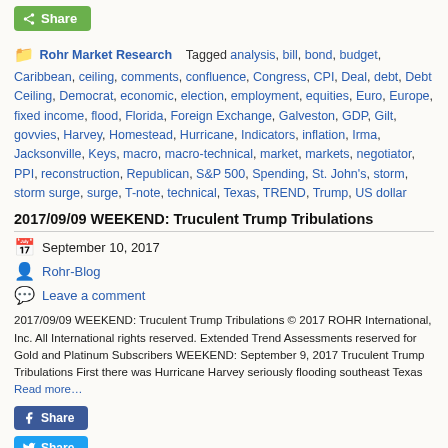[Figure (other): Green Share button with share icon at top of page]
Rohr Market Research Tagged analysis, bill, bond, budget, Caribbean, ceiling, comments, confluence, Congress, CPI, Deal, debt, Debt Ceiling, Democrat, economic, election, employment, equities, Euro, Europe, fixed income, flood, Florida, Foreign Exchange, Galveston, GDP, Gilt, govvies, Harvey, Homestead, Hurricane, Indicators, inflation, Irma, Jacksonville, Keys, macro, macro-technical, market, markets, negotiator, PPI, reconstruction, Republican, S&P 500, Spending, St. John's, storm, storm surge, surge, T-note, technical, Texas, TREND, Trump, US dollar
2017/09/09 WEEKEND: Truculent Trump Tribulations
September 10, 2017
Rohr-Blog
Leave a comment
2017/09/09 WEEKEND: Truculent Trump Tribulations © 2017 ROHR International, Inc. All International rights reserved. Extended Trend Assessments reserved for Gold and Platinum Subscribers WEEKEND: September 9, 2017 Truculent Trump Tribulations First there was Hurricane Harvey seriously flooding southeast Texas Read more…
[Figure (other): Facebook Share button]
[Figure (other): Twitter Share button (partially visible)]